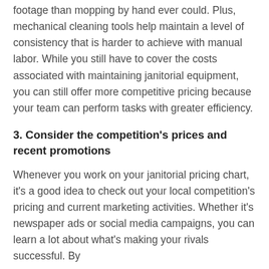footage than mopping by hand ever could. Plus, mechanical cleaning tools help maintain a level of consistency that is harder to achieve with manual labor. While you still have to cover the costs associated with maintaining janitorial equipment, you can still offer more competitive pricing because your team can perform tasks with greater efficiency.
3. Consider the competition's prices and recent promotions
Whenever you work on your janitorial pricing chart, it's a good idea to check out your local competition's pricing and current marketing activities. Whether it's newspaper ads or social media campaigns, you can learn a lot about what's making your rivals successful. By